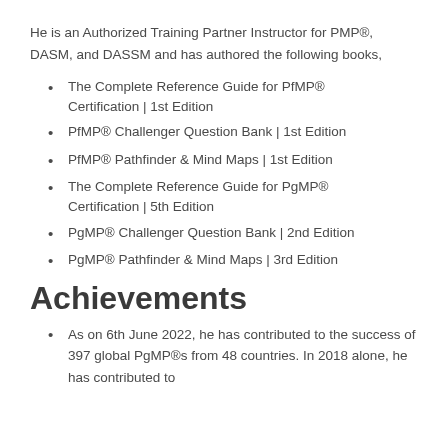He is an Authorized Training Partner Instructor for PMP®, DASM, and DASSM and has authored the following books,
The Complete Reference Guide for PfMP® Certification | 1st Edition
PfMP® Challenger Question Bank | 1st Edition
PfMP® Pathfinder & Mind Maps | 1st Edition
The Complete Reference Guide for PgMP® Certification | 5th Edition
PgMP® Challenger Question Bank | 2nd Edition
PgMP® Pathfinder & Mind Maps | 3rd Edition
Achievements
As on 6th June 2022, he has contributed to the success of 397 global PgMP®s from 48 countries. In 2018 alone, he has contributed to